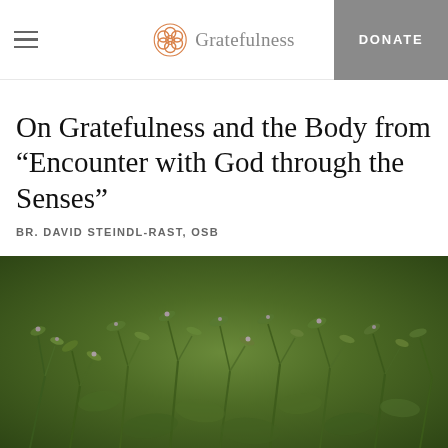Gratefulness  DONATE
On Gratefulness and the Body from “Encounter with God through the Senses”
BR. DAVID STEINDL-RAST, OSB
PRINT
SHARE
[Figure (photo): Close-up photo of green herb plants with small purple flowers, likely thyme or similar herb, filling the bottom portion of the page.]